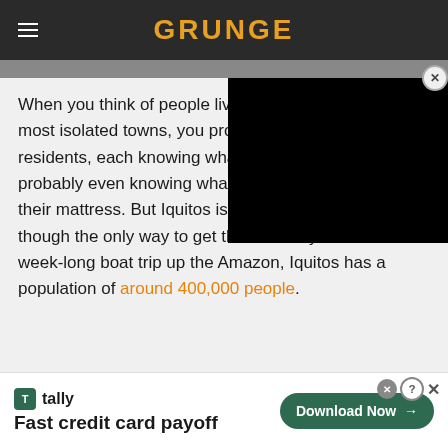GRUNGE
When you think of people living in the most isolated towns, you probably picture residents, each knowing what the others do, probably even knowing what they keep under their mattress. But Iquitos is a little different. Even though the only way to get there is to fly or take a week-long boat trip up the Amazon, Iquitos has a population of around 400,000 people.
[Figure (screenshot): Black video player overlay in top-right corner of article]
Fast credit card payoff — Tally advertisement with Download Now button